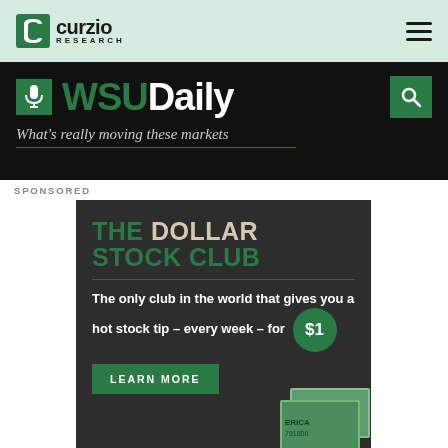[Figure (logo): Curzio Research logo with hamburger menu on light green navigation bar]
[Figure (logo): WSU Daily banner with microphone icon, WSU Daily wordmark in green and white, tagline 'What's really moving these markets', and green search button]
SPONSORED
[Figure (infographic): Advertisement for The Dollar Stock Club: 'The only club in the world that gives you a hot stock tip – every week – for $1' with a LEARN MORE button and rolled dollar bills illustration]